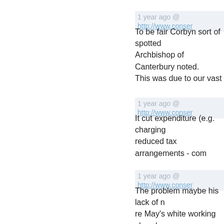1 year ago @ http://www.conser...
To be fair Corbyn sort of spotted... Archbishop of Canterbury noted... This was due to our vast service... this. That is if you want video re... the City are better paid and more...
1 year ago @ http://www.conser...
It cut expenditure (e.g. charging... reduced tax arrangements - com... because so much of its income i... office is in London but not paying...
1 year ago @ http://www.conser...
The problem maybe his lack of n... re May's white working class bo... ministers have referred to them i... seems to me to be the good old... what seems a good idea and let...
1 year ago @ http://www.conser...
Well meant and rather more prac... about steady streams of good s...